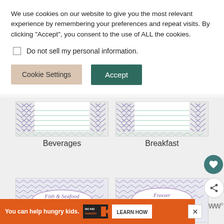We use cookies on our website to give you the most relevant experience by remembering your preferences and repeat visits. By clicking “Accept”, you consent to the use of ALL the cookies.
Do not sell my personal information.
Cookie Settings  Accept
[Figure (illustration): Recipe card thumbnail with chevron pattern - Beverages]
Beverages
[Figure (illustration): Recipe card thumbnail with chevron pattern - Breakfast]
Breakfast
[Figure (illustration): Recipe card thumbnail with chevron pattern and oval label - Fish & Seafood]
[Figure (illustration): Recipe card thumbnail with chevron pattern and oval label - Freezer Meals]
You can help hungry kids.
[Figure (logo): No Kid Hungry logo]
LEARN HOW